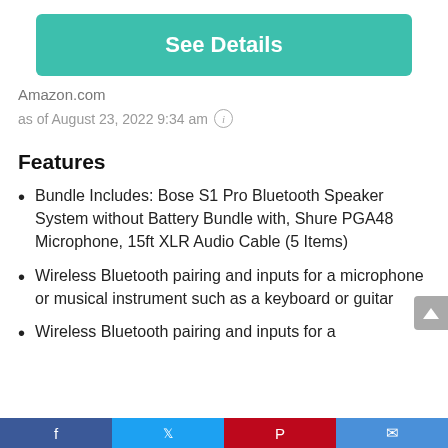[Figure (other): Teal/green 'See Details' button]
Amazon.com
as of August 23, 2022 9:34 am ⓘ
Features
Bundle Includes: Bose S1 Pro Bluetooth Speaker System without Battery Bundle with, Shure PGA48 Microphone, 15ft XLR Audio Cable (5 Items)
Wireless Bluetooth pairing and inputs for a microphone or musical instrument such as a keyboard or guitar
Wireless Bluetooth pairing and inputs for a